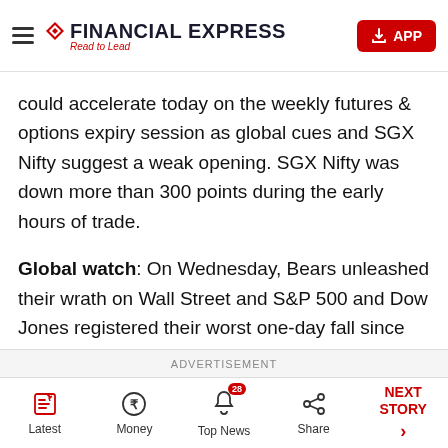Financial Express — Read to Lead
could accelerate today on the weekly futures & options expiry session as global cues and SGX Nifty suggest a weak opening. SGX Nifty was down more than 300 points during the early hours of trade.
Global watch: On Wednesday, Bears unleashed their wrath on Wall Street and S&P 500 and Dow Jones registered their worst one-day fall since June of 2020. S&P 500 tanked 4.04% while Dow Jones fell 3.57% and NASDAQ was down 4.73%.
ADVERTISEMENT | Latest | Money | Top News 28 | Share | NEXT STORY